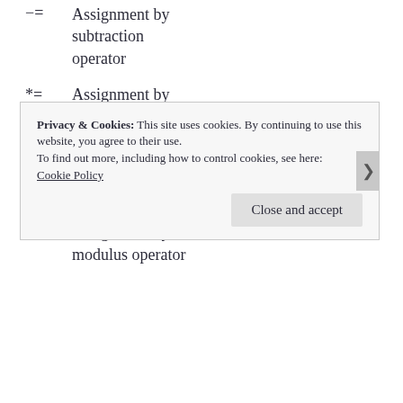-= Assignment by subtraction operator
*= Assignment by multiplication operator
/= Assignment by division operator
%= Assignment by modulus operator
Privacy & Cookies: This site uses cookies. By continuing to use this website, you agree to their use.
To find out more, including how to control cookies, see here: Cookie Policy
Close and accept